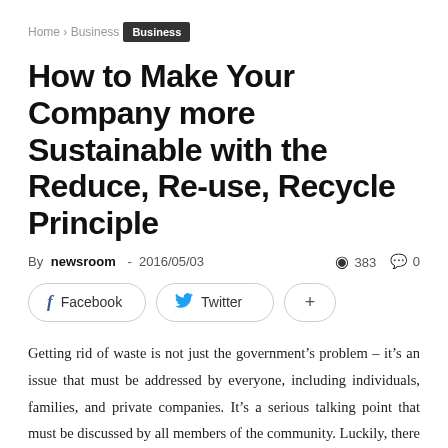Home › Business
Business
How to Make Your Company more Sustainable with the Reduce, Re-use, Recycle Principle
By newsroom - 2016/05/03  383  0
Facebook  Twitter  +
Getting rid of waste is not just the government's problem – it's an issue that must be addressed by everyone, including individuals, families, and private companies. It's a serious talking point that must be discussed by all members of the community. Luckily, there are many things individuals and companies can do to reduce, re-